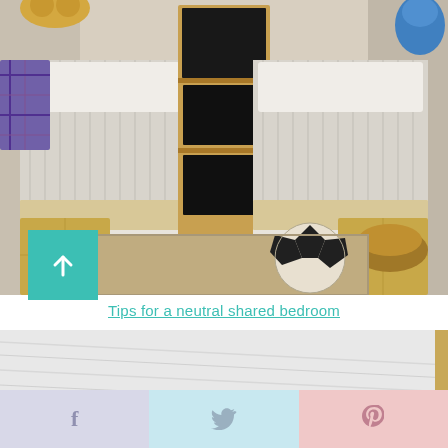[Figure (photo): Shared kids bedroom with two twin beds, wooden nightstands, a rolling shelving unit in the center, striped bedding, and a soccer ball on the floor]
Tips for a neutral shared bedroom
[Figure (photo): Bright white room with white painted wood plank ceiling, white walls, and two windows with white roller shades]
f  [twitter bird]  p